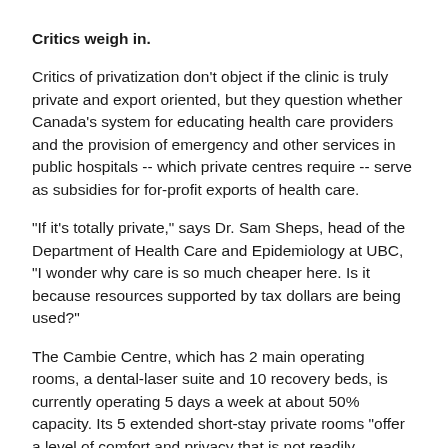Critics weigh in.
Critics of privatization don't object if the clinic is truly private and export oriented, but they question whether Canada's system for educating health care providers and the provision of emergency and other services in public hospitals -- which private centres require -- serve as subsidies for for-profit exports of health care.
"If it's totally private," says Dr. Sam Sheps, head of the Department of Health Care and Epidemiology at UBC, "I wonder why care is so much cheaper here. Is it because resources supported by tax dollars are being used?"
The Cambie Centre, which has 2 main operating rooms, a dental-laser suite and 10 recovery beds, is currently operating 5 days a week at about 50% capacity. Its 5 extended short-stay private rooms "offer a level of comfort and privacy that is not readily available in public institutions. Telephone, radio, television and video players are available in each room."
Its roster of "on staff " surgeons includes more than 30 plastic surgeons, about 30 orthopods and eye and dental surgeons. They